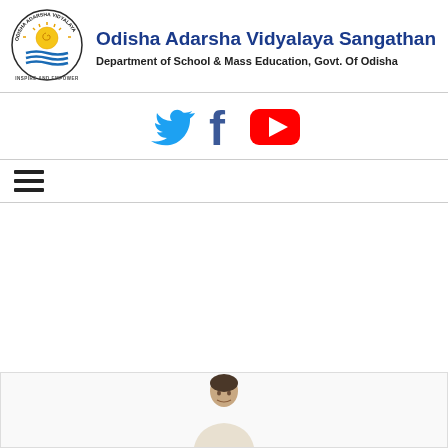[Figure (logo): Odisha Adarsha Vidyalaya Sangathan circular logo with sun and book, text INSPIRE AND EMPOWER]
Odisha Adarsha Vidyalaya Sangathan
Department of School & Mass Education, Govt. Of Odisha
[Figure (illustration): Social media icons: Twitter bird icon (blue), Facebook f icon (dark blue), YouTube play button icon (red)]
[Figure (other): Hamburger menu icon (three horizontal lines)]
[Figure (photo): Partial photo of a person at the bottom of the page]